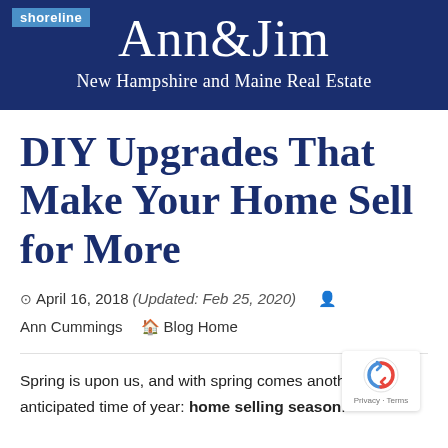shoreline | Ann&Jim | New Hampshire and Maine Real Estate
DIY Upgrades That Make Your Home Sell for More
April 16, 2018 (Updated: Feb 25, 2020) Ann Cummings Blog Home
Spring is upon us, and with spring comes another anticipated time of year: home selling season.